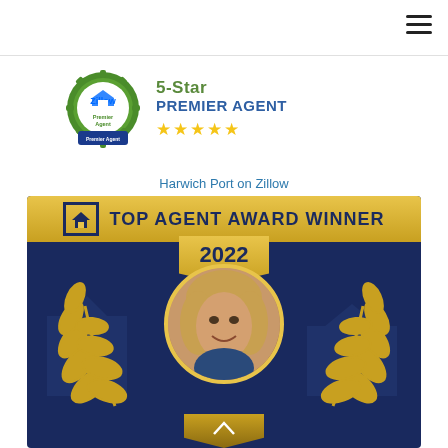[Figure (logo): Hamburger menu icon (three horizontal lines) in top right corner]
[Figure (logo): Zillow Premier Agent badge - circular green seal with 'Zillow Premier Agent' text, alongside '5-Star Premier Agent' text in green/blue and five gold stars below]
Harwich Port on Zillow
[Figure (illustration): Top Agent Award Winner 2022 banner/graphic on dark navy blue background with gold accents, showing a woman's portrait in a gold laurel wreath circle, with 'TOP AGENT AWARD WINNER' text at top and '2022' in a gold ribbon]